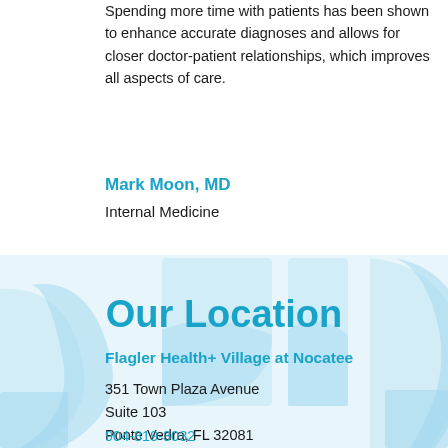Spending more time with patients has been shown to enhance accurate diagnoses and allows for closer doctor-patient relationships, which improves all aspects of care.
Mark Moon, MD
Internal Medicine
[Figure (illustration): Light blue decorative arc/cross shapes forming a background graphic for the Our Location section]
Our Location
Flagler Health+ Village at Nocatee
351 Town Plaza Avenue
Suite 103
Ponte Vedra, FL 32081
904-819-3032